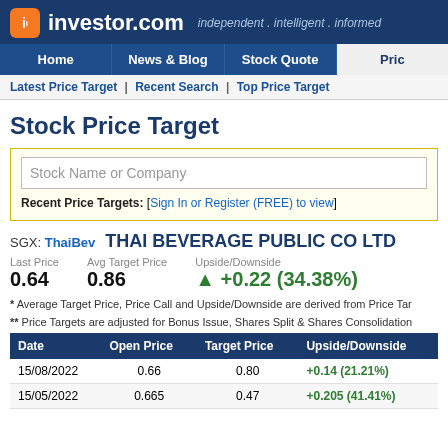investor.com — independent . intelligent . informed
Home | News & Blog | Stock Quote | Price
Latest Price Target | Recent Search | Top Price Target
Stock Price Target
Stock Name or Company (search input)
Recent Price Targets: [Sign In or Register (FREE) to view]
SGX: ThaiBev   THAI BEVERAGE PUBLIC CO LTD
|  |  |
| --- | --- |
| Last Price | Avg Target Price | Upside/Downside |
| 0.64 | 0.86 | ▲ +0.22 (34.38%) |
* Average Target Price, Price Call and Upside/Downside are derived from Price Tar...
** Price Targets are adjusted for Bonus Issue, Shares Split & Shares Consolidation
| Date | Open Price | Target Price | Upside/Downside |
| --- | --- | --- | --- |
| 15/08/2022 | 0.66 | 0.80 | +0.14 (21.21%) |
| 15/05/2022 | 0.665 | 0.47 | +0.205 (41.41%) |